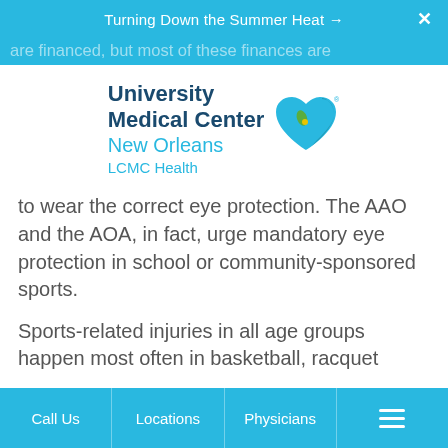Turning Down the Summer Heat →
are financed, but most of these finances are
[Figure (logo): University Medical Center New Orleans LCMC Health logo with teal and dark blue heart/leaf icon]
to wear the correct eye protection. The AAO and the AOA, in fact, urge mandatory eye protection in school or community-sponsored sports.
Sports-related injuries in all age groups happen most often in basketball, racquet
Call Us | Locations | Physicians | Menu